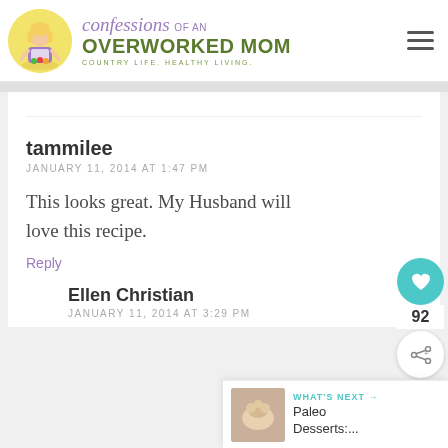[Figure (logo): Confessions of an Overworked Mom blog logo with illustrated woman character, tagline: Country Life. Healthy Living.]
tammilee
JANUARY 11, 2014 AT 1:47 PM
This looks great. My Husband will love this recipe.
Reply
Ellen Christian
JANUARY 11, 2014 AT 3:29 PM
WHAT'S NEXT → Paleo Desserts:....